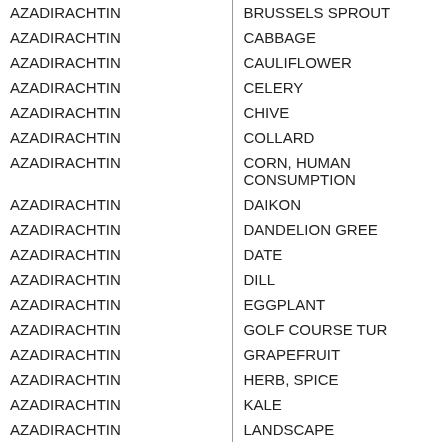| Active Ingredient | Commodity |
| --- | --- |
| AZADIRACHTIN | BRUSSELS SPROUT |
| AZADIRACHTIN | CABBAGE |
| AZADIRACHTIN | CAULIFLOWER |
| AZADIRACHTIN | CELERY |
| AZADIRACHTIN | CHIVE |
| AZADIRACHTIN | COLLARD |
| AZADIRACHTIN | CORN, HUMAN CONSUMPTION |
| AZADIRACHTIN | DAIKON |
| AZADIRACHTIN | DANDELION GREENS |
| AZADIRACHTIN | DATE |
| AZADIRACHTIN | DILL |
| AZADIRACHTIN | EGGPLANT |
| AZADIRACHTIN | GOLF COURSE TURF |
| AZADIRACHTIN | GRAPEFRUIT |
| AZADIRACHTIN | HERB, SPICE |
| AZADIRACHTIN | KALE |
| AZADIRACHTIN | LANDSCAPE |